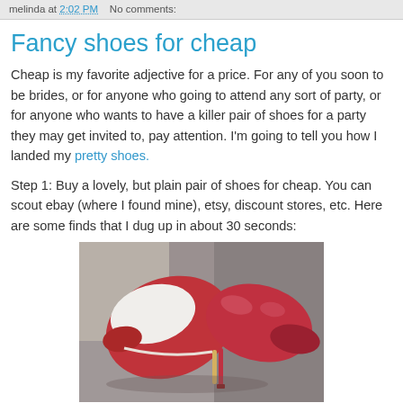melinda at 2:02 PM   No comments:
Fancy shoes for cheap
Cheap is my favorite adjective for a price. For any of you soon to be brides, or for anyone who going to attend any sort of party, or for anyone who wants to have a killer pair of shoes for a party they may get invited to, pay attention. I'm going to tell you how I landed my pretty shoes.
Step 1: Buy a lovely, but plain pair of shoes for cheap. You can scout ebay (where I found mine), etsy, discount stores, etc. Here are some finds that I dug up in about 30 seconds:
[Figure (photo): Photo of a pair of red high-heel shoes (pumps) displayed on a surface, shown from different angles — one showing the white interior and the other showing the red exterior satin finish.]